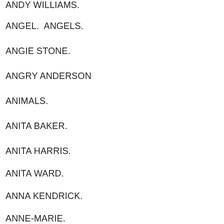ANDY WILLIAMS.
ANGEL.  ANGELS.
ANGIE STONE.
ANGRY ANDERSON
ANIMALS.
ANITA BAKER.
ANITA HARRIS.
ANITA WARD.
ANNA KENDRICK.
ANNE-MARIE.
ANNE MURRAY.